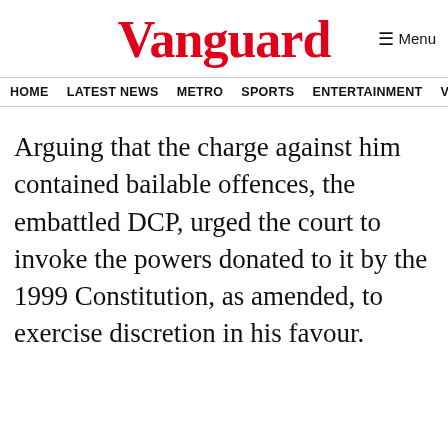Vanguard
HOME  LATEST NEWS  METRO  SPORTS  ENTERTAINMENT  VIDEOS
Arguing that the charge against him contained bailable offences, the embattled DCP, urged the court to invoke the powers donated to it by the 1999 Constitution, as amended, to exercise discretion in his favour.